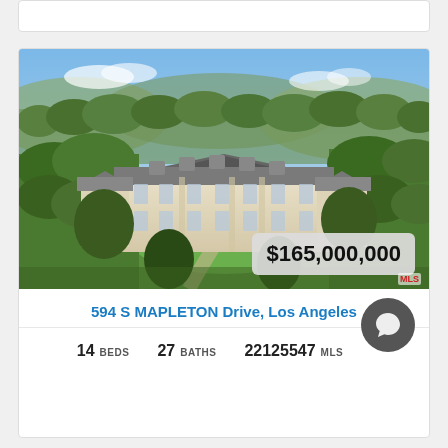[Figure (photo): Aerial view of a large French château-style mansion with extensive grounds, lush green trees, and manicured lawn in Los Angeles. A price badge overlay shows $165,000,000 with an MLS logo.]
594 S MAPLETON Drive, Los Angeles
14 BEDS   27 BATHS   22125547 MLS